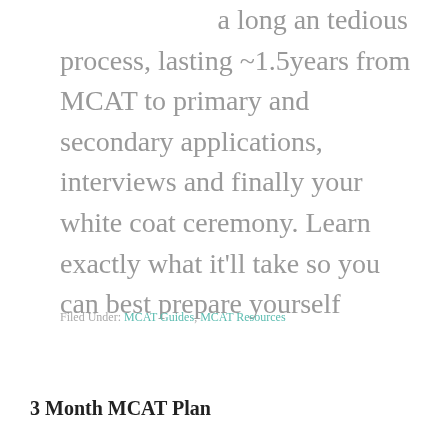a long an tedious process, lasting ~1.5years from MCAT to primary and secondary applications, interviews and finally your white coat ceremony. Learn exactly what it'll take so you can best prepare yourself
Filed Under: MCAT Guides, MCAT Resources
3 Month MCAT Plan